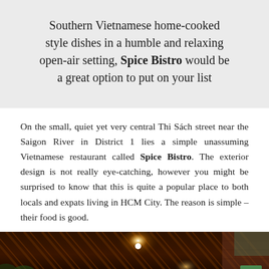Southern Vietnamese home-cooked style dishes in a humble and relaxing open-air setting, Spice Bistro would be a great option to put on your list
On the small, quiet yet very central Thi Sách street near the Saigon River in District 1 lies a simple unassuming Vietnamese restaurant called Spice Bistro. The exterior design is not really eye-catching, however you might be surprised to know that this is quite a popular place to both locals and expats living in HCM City. The reason is simple – their food is good.
[Figure (photo): Dark interior photo of Spice Bistro restaurant showing wooden ceiling slats with warm lighting and a light fixture, with foliage visible at left and brick wall at right.]